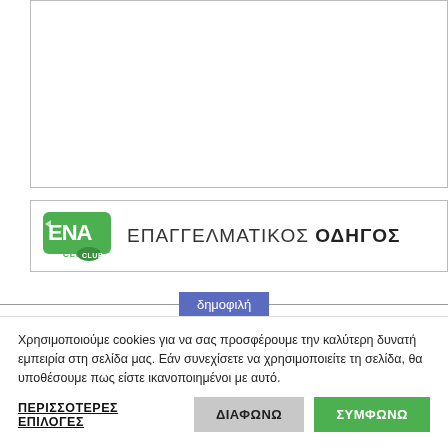[Figure (other): White image placeholder box with border]
[Figure (logo): ENA Club logo with text ΕΠΑΓΓΕΛΜΑΤΙΚΟΣ ΟΔΗΓΟΣ in a bordered banner]
δημοφιλή
Χρησιμοποιούμε cookies για να σας προσφέρουμε την καλύτερη δυνατή εμπειρία στη σελίδα μας. Εάν συνεχίσετε να χρησιμοποιείτε τη σελίδα, θα υποθέσουμε πως είστε ικανοποιημένοι με αυτό.
ΠΕΡΙΣΣΟΤΕΡΕΣ ΕΠΙΛΟΓΕΣ  ΔΙΑΦΩΝΩ  ΣΥΜΦΩΝΩ